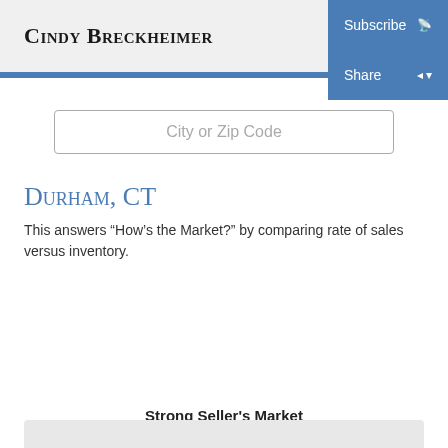Cindy Breckheimer
Subscribe
Share
City or Zip Code
Durham, CT
This answers “How’s the Market?” by comparing rate of sales versus inventory.
Strong Seller's Market